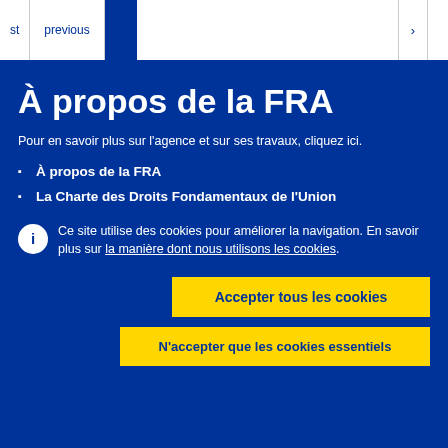previous | [active page] | next ›
À propos de la FRA
Pour en savoir plus sur l'agence et sur ses travaux, cliquez ici.
À propos de la FRA
La Charte des Droits Fondamentaux de l'Union
Ce site utilise des cookies pour améliorer la navigation. En savoir plus sur la manière dont nous utilisons les cookies.
Accepter tous les cookies
N'accepter que les cookies essentiels